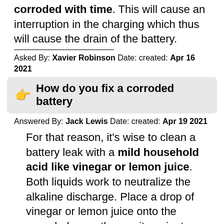corroded with time. This will cause an interruption in the charging which thus will cause the drain of the battery.
Asked By: Xavier Robinson Date: created: Apr 16 2021
How do you fix a corroded battery
Answered By: Jack Lewis Date: created: Apr 19 2021
For that reason, it's wise to clean a battery leak with a mild household acid like vinegar or lemon juice. Both liquids work to neutralize the alkaline discharge. Place a drop of vinegar or lemon juice onto the corroded area, then wait a minute or two for the neutralizing effect to take place.
Asked By: Oliver Baker Date: created: Oct 03 2021